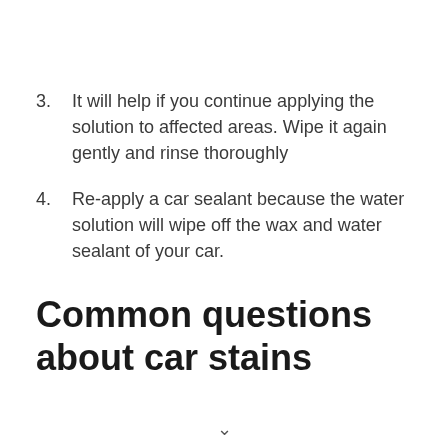3. It will help if you continue applying the solution to affected areas. Wipe it again gently and rinse thoroughly
4. Re-apply a car sealant because the water solution will wipe off the wax and water sealant of your car.
Common questions about car stains